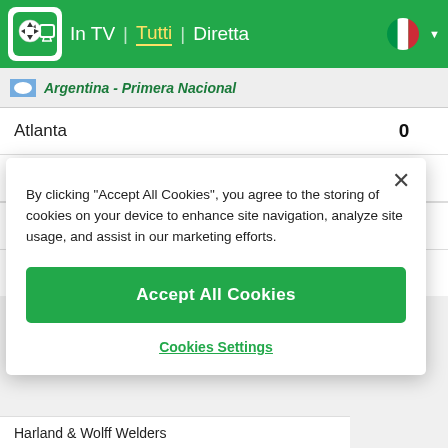In TV | Tutti | Diretta
Argentina - Primera Nacional
| Team | Score |
| --- | --- |
| Atlanta | 0 |
| Atletico De Rafaela | 0 |
| Atlético Güemes | 0 |
| Tristan Suarez | 0 |
By clicking "Accept All Cookies", you agree to the storing of cookies on your device to enhance site navigation, analyze site usage, and assist in our marketing efforts.
Accept All Cookies
Cookies Settings
Harland & Wolff Welders